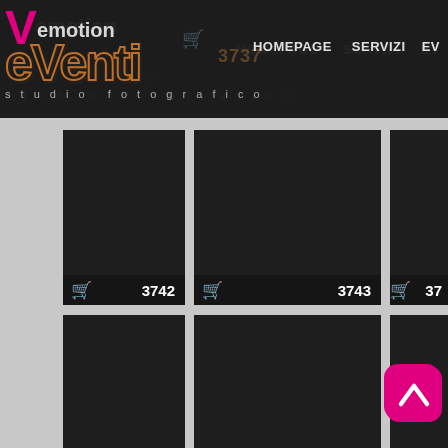[Figure (screenshot): Website screenshot of 'Vemotion eVenti studio fotografico' photo gallery showing a grid of dark photo thumbnails with cart icons and numbered items 3737, 3738, 3742, 3743, 3747, 3748, 3752, 3753 and partial items. Navigation bar shows HOMEPAGE, SERVIZI, EV. Logo with pink V and brown outlined eVenti text visible top left.]